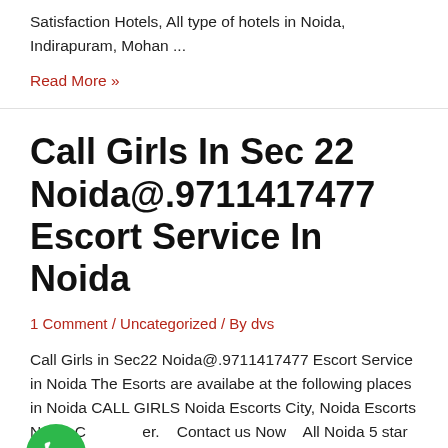Satisfaction Hotels, All type of hotels in Noida, Indirapuram, Mohan ...
Read More »
Call Girls In Sec 22 Noida@.9711417477 Escort Service In Noida
1 Comment / Uncategorized / By dvs
Call Girls in Sec22 Noida@.9711417477 Escort Service in Noida The Esorts are availabe at the following places in Noida CALL GIRLS Noida Escorts City, Noida Escorts Noida C...er.   Contact us Now   All Noida 5 star hotels, noida StarsHotels, All type of hotels in Noida, Indirapuram, Mohan Nagar, Raj Nagar Extension, Noida